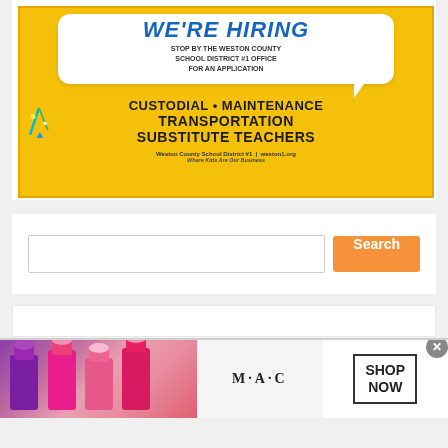[Figure (infographic): We're Hiring advertisement for Weston County School District #1. Yellow background with speech bubble containing 'WE'RE HIRING' text. Lists positions: Custodial, Maintenance, Transportation, Substitute Teachers. Website: weston1.org. Tagline: Where Kids Are Our Business.]
[Figure (screenshot): Search bar with text input field and orange 'Search' button.]
[Figure (infographic): MAC Cosmetics advertisement banner showing lipsticks on left, M·A·C logo in center, and 'SHOP NOW' button in a rectangle on the right. Has a close (X) button.]